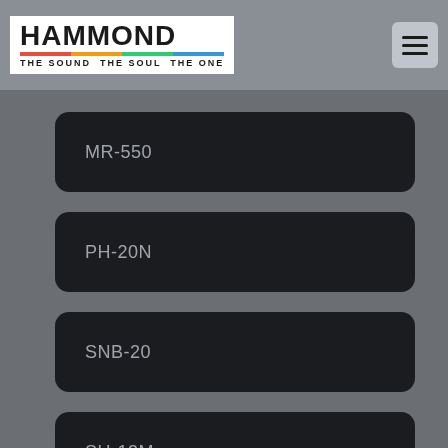HAMMOND — THE SOUND THE SOUL THE ONE
MR-550
PH-20N
SNB-20
SU-13M
SU-21 HM